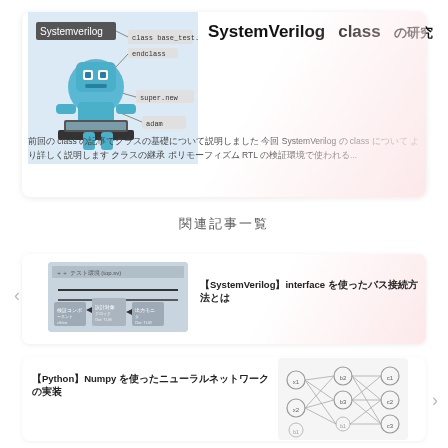[Figure (illustration): Robot mascot with code snippets (class base_test, endclass, super.new, adam) on a light blue background]
SystemVerilog class の研究
前回の class の記事でクラスの基礎について説明しました 今回 SystemVerilog の class について より詳しく説明します クラスの継承 ポリモーフィズム RTL の検証環境で使われる...
関連記事一覧
[Figure (engineering-diagram): Block diagram showing verification environment with interconnected blocks and buses]
【SystemVerilog】interface を使ったバス接続方法とは
【Python】Numpy を使ったニューラルネットワーク の実装
[Figure (network-graph): Neural network graph with nodes labeled x1, x2, b1, b2, b3, c1, c2, c3 with interconnected edges]